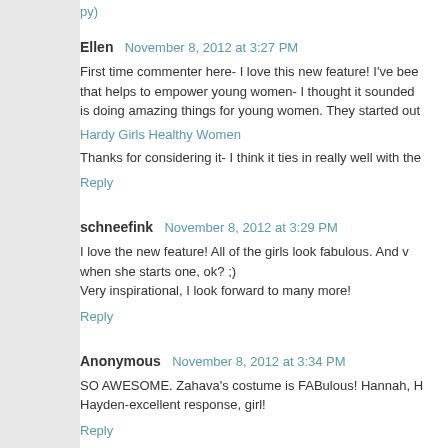Ellen  November 8, 2012 at 3:27 PM
First time commenter here- I love this new feature! I've been looking for an organization that helps to empower young women- I thought it sounded familiar and this organization is doing amazing things for young women. They started out
Hardy Girls Healthy Women
Thanks for considering it- I think it ties in really well with the
Reply
schneefink  November 8, 2012 at 3:29 PM
I love the new feature! All of the girls look fabulous. And when she starts one, ok? ;)
Very inspirational, I look forward to many more!
Reply
Anonymous  November 8, 2012 at 3:34 PM
SO AWESOME. Zahava's costume is FABulous! Hannah, H Hayden-excellent response, girl!
Reply